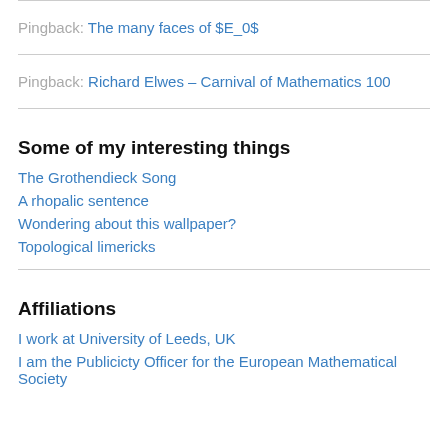Pingback: The many faces of $E_0$
Pingback: Richard Elwes – Carnival of Mathematics 100
Some of my interesting things
The Grothendieck Song
A rhopalic sentence
Wondering about this wallpaper?
Topological limericks
Affiliations
I work at University of Leeds, UK
I am the Publicicty Officer for the European Mathematical Society